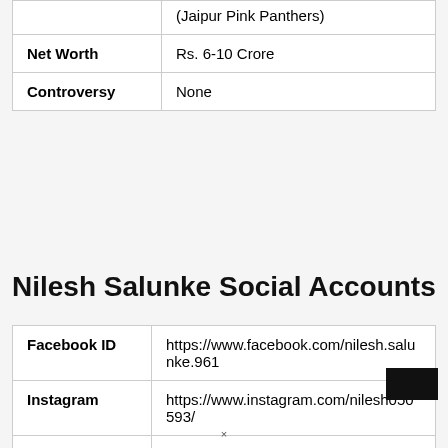| Field | Value |
| --- | --- |
|  | (Jaipur Pink Panthers) |
| Net Worth | Rs. 6-10 Crore |
| Controversy | None |
Nilesh Salunke Social Accounts
| Field | Value |
| --- | --- |
| Facebook ID | https://www.facebook.com/nilesh.salunke.961 |
| Instagram | https://www.instagram.com/nilesh050593/ |
| Twitter | Updated soon |